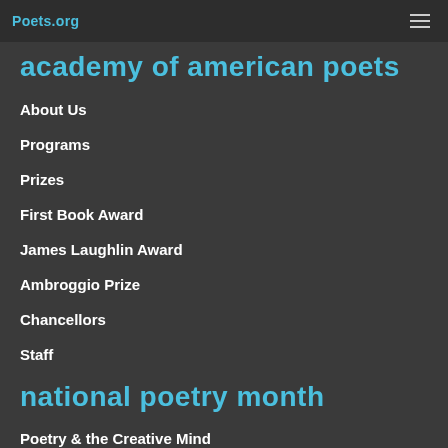Poets.org
academy of american poets
About Us
Programs
Prizes
First Book Award
James Laughlin Award
Ambroggio Prize
Chancellors
Staff
national poetry month
Poetry & the Creative Mind
Dear Poet Project